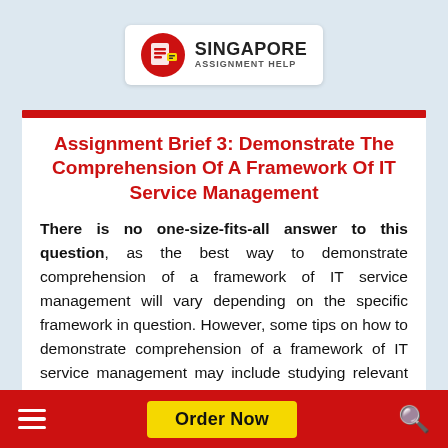[Figure (logo): Singapore Assignment Help logo with red circular icon and text]
Assignment Brief 3: Demonstrate The Comprehension Of A Framework Of IT Service Management
There is no one-size-fits-all answer to this question, as the best way to demonstrate comprehension of a framework of IT service management will vary depending on the specific framework in question. However, some tips on how to demonstrate comprehension of a framework of IT service management may include studying relevant literature, attending training courses or webinars, and/or participating in discussion forums
Order Now